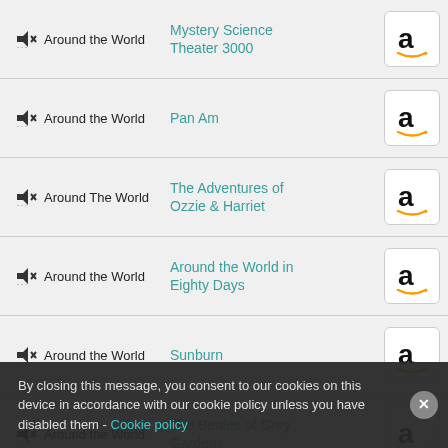Around the World — Mystery Science Theater 3000
Around the World — Pan Am
Around The World — The Adventures of Ozzie & Harriet
Around the World — Around the World in Eighty Days
Around the World — Sunburn
Around the World — The Beales of Grey Gardens
Around the World — Tudo Bem
Around the World — Tudo Bem (second row, partially obscured)
By closing this message, you consent to our cookies on this device in accordance with our cookie policy unless you have disabled them - Cookie policy